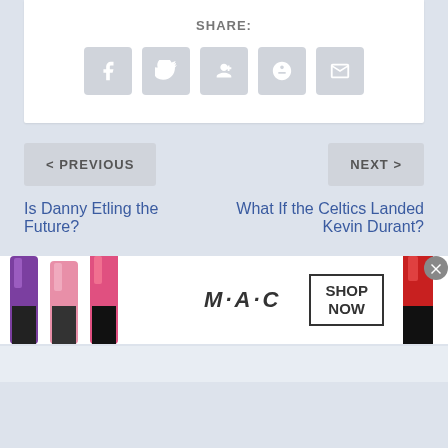SHARE:
[Figure (other): Social share icons: Facebook, Twitter, Google+, StumbleUpon, Email]
< PREVIOUS
NEXT >
Is Danny Etling the Future?
What If the Celtics Landed Kevin Durant?
[Figure (photo): MAC Cosmetics advertisement banner showing colorful lipsticks on left and right, MAC logo in center with SHOP NOW button]